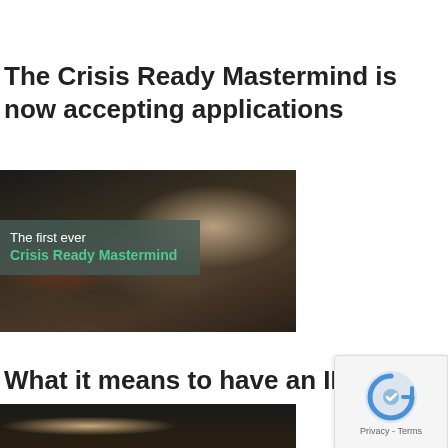The Crisis Ready Mastermind is now accepting applications
[Figure (photo): Group of people at an event/conference with an overlay text box reading 'The first ever Crisis Ready Mastermind' in white and teal text on a dark semi-transparent background. A woman in a black jacket stands at the right.]
What it means to have an INVINCIBLE b
[Figure (photo): Bottom portion of a photo showing a person, partially visible, dark background]
[Figure (other): reCAPTCHA badge with blue/grey icon and Privacy - Terms text]